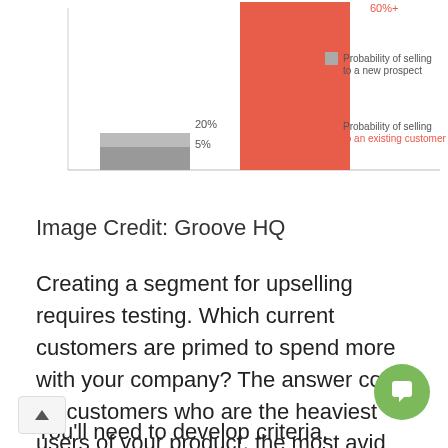[Figure (bar-chart): ]
Image Credit: Groove HQ
Creating a segment for upselling requires testing. Which current customers are primed to spend more with your company? The answer could be customers who are the heaviest users of your product, the most avid supporters of your brand, or something else entirely.
You'll need to develop criteria, test them, and